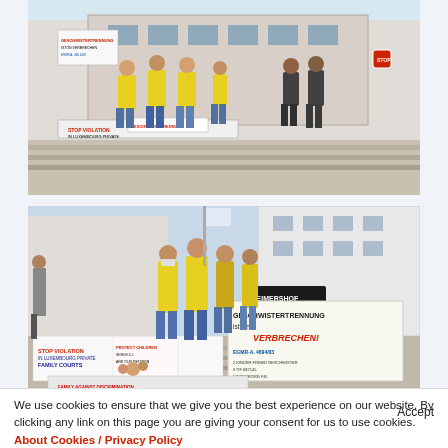[Figure (photo): Outdoor protest scene showing several people wearing yellow high-visibility vests standing near banners and protest signs in front of a building. Signs visible with text about family courts and children's rights. Sunny day, urban setting.]
[Figure (photo): Outdoor protest at Weimershof, showing group of people in yellow vests and face masks standing near large protest banners. Signs read 'STOP VIOLATION IN LUXEMBOURG PRIVATE FAMILY COURTS', 'PROTECT CHILDREN SIGN E.C.I. AND OUR PETITION', 'GESCHWISTERTRENNUNG IST EIN VERBRECHEN! EGMR-A. 4694/03'. Urban building backdrop.]
We use cookies to ensure that we give you the best experience on our website. By clicking any link on this page you are giving your consent for us to use cookies. About Cookies / Privacy Policy